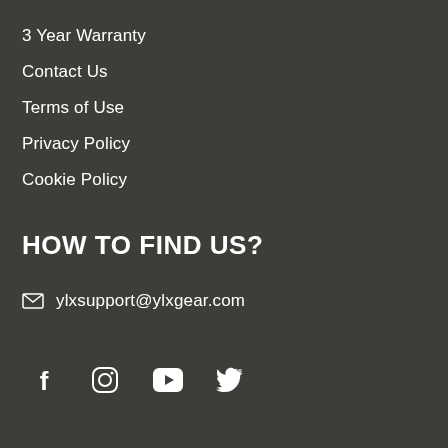3 Year Warranty
Contact Us
Terms of Use
Privacy Policy
Cookie Policy
HOW TO FIND US?
ylxsupport@ylxgear.com
[Figure (infographic): Social media icons: Facebook, Instagram, YouTube, Twitter]